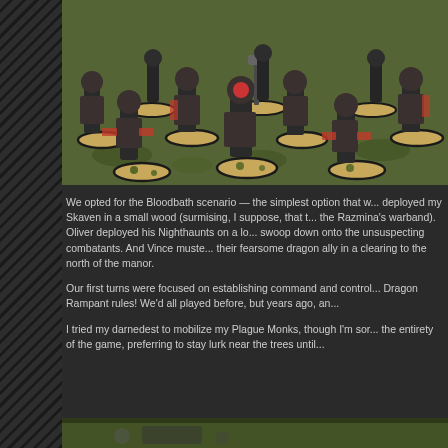[Figure (photo): Photograph of painted tabletop wargaming miniatures (Skaven warriors in dark armor with red accents) arranged on a green gaming mat with textured bases.]
We opted for the Bloodbath scenario — the simplest option that w... deployed my Skaven in a small wood (surmising, I suppose, that t... the Razmina's warband). Oliver deployed his Nighthaunts on a lo... swoop down onto the unsuspecting combatants. And Vince muste... their fearsome dragon ally in a clearing to the north of the manor.
Our first turns were focused on establishing command and control... Dragon Rampant rules! We'd all played before, but years ago, an...
I tried my darnedest to mobilize my Plague Monks, though I'm sor... the entirety of the game, preferring to stay lurk near the trees until...
[Figure (photo): Partial photograph visible at the bottom of the page, appears to show more miniatures or gaming terrain.]